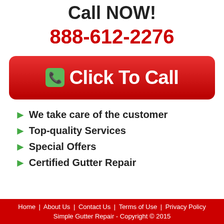Call NOW!
888-612-2276
[Figure (other): Red rounded button with phone icon and text 'Click To Call']
We take care of the customer
Top-quality Services
Special Offers
Certified Gutter Repair
Home | About Us | Contact Us | Terms of Use | Privacy Policy
Simple Gutter Repair - Copyright © 2015